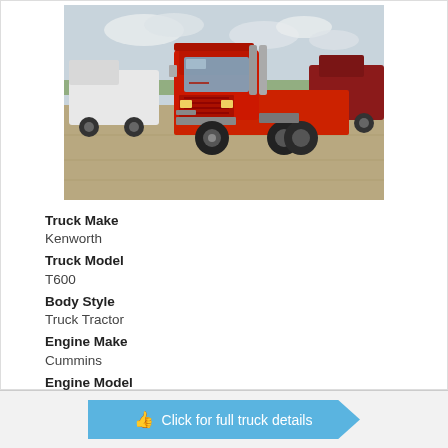[Figure (photo): Red Kenworth T600 truck tractor parked in a gravel lot, with a white Peterbilt truck on the left and a dark red truck on the right, under a cloudy sky.]
Truck Make
Kenworth
Truck Model
T600
Body Style
Truck Tractor
Engine Make
Cummins
Engine Model
ISX
Click for full truck details